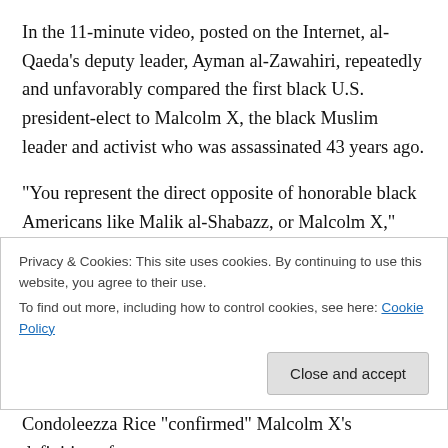In the 11-minute video, posted on the Internet, al-Qaeda's deputy leader, Ayman al-Zawahiri, repeatedly and unfavorably compared the first black U.S. president-elect to Malcolm X, the black Muslim leader and activist who was assassinated 43 years ago.
“You represent the direct opposite of honorable black Americans like Malik al-Shabazz, or Malcolm X,” Zawahiri said, according to English subtitles of his Arabic remarks provided by al-Qaeda’s propaganda arm. “You were born to a Muslim father, but you chose to stand in the ranks of
Privacy & Cookies: This site uses cookies. By continuing to use this website, you agree to their use.
To find out more, including how to control cookies, see here: Cookie Policy
Close and accept
Condoleezza Rice “confirmed” Malcolm X’s definition of a